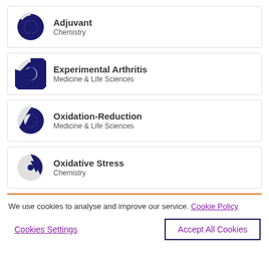Adjuvant / Chemistry
Experimental Arthritis / Medicine & Life Sciences
Oxidation-Reduction / Medicine & Life Sciences
Oxidative Stress / Chemistry
We use cookies to analyse and improve our service. Cookie Policy
Cookies Settings | Accept All Cookies